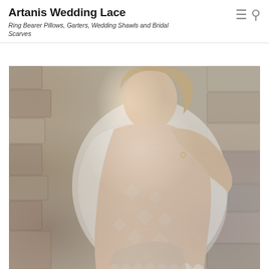Artanis Wedding Lace — Ring Bearer Pillows, Garters, Wedding Shawls and Bridal Scarves
[Figure (photo): A woman wearing a white lace wedding shawl draped over her shoulders and arms, posing in front of a stone wall. The shawl has an intricate lace pattern with geometric and floral motifs and pointed/scalloped edges. She has blonde hair, is smiling slightly, and wears a light pink/champagne skirt underneath.]